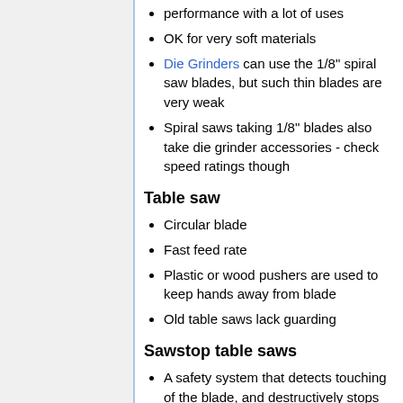performance with a lot of uses
OK for very soft materials
Die Grinders can use the 1/8" spiral saw blades, but such thin blades are very weak
Spiral saws taking 1/8" blades also take die grinder accessories - check speed ratings though
Table saw
Circular blade
Fast feed rate
Plastic or wood pushers are used to keep hands away from blade
Old table saws lack guarding
Sawstop table saws
A safety system that detects touching of the blade, and destructively stops the blade to minimise injury